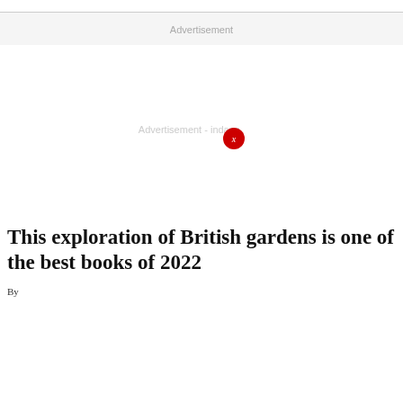Advertisement
[Figure (other): Advertisement placeholder area with 'Advertisement - indane' text and a red circular close button with 'x']
This exploration of British gardens is one of the best books of 2022
By...